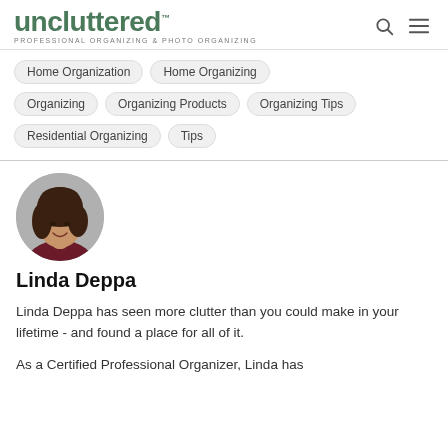uncluttered™ PROFESSIONAL ORGANIZING & PHOTO ORGANIZING
Home Organization
Home Organizing
Organizing
Organizing Products
Organizing Tips
Residential Organizing
Tips
[Figure (photo): Circular headshot portrait of Linda Deppa, a woman with dark brown hair, smiling, wearing a dark red top, against a grey background.]
Linda Deppa
Linda Deppa has seen more clutter than you could make in your lifetime - and found a place for all of it.
As a Certified Professional Organizer, Linda has